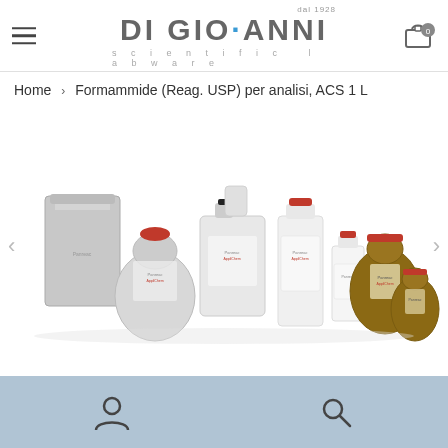Di Giovanni scientific labware — dal 1928
Home > Formammide (Reag. USP) per analisi, ACS 1 L
[Figure (photo): Product photo showing multiple laboratory chemical bottles and containers of various sizes with red caps and brown glass bottles, on a white background. Arrows on left and right for carousel navigation.]
Navigation icons: user account and search